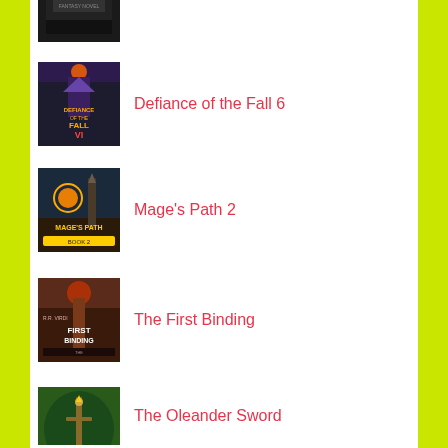[Figure (illustration): Book cover for Age of Iron - dark cover with text]
[Figure (illustration): Book cover for Defiance of the Fall 6 - fantasy warrior cover]
Defiance of the Fall 6
[Figure (illustration): Book cover for Mage's Path 2 - fantasy mage cover]
Mage's Path 2
[Figure (illustration): Book cover for The First Binding - dark fantasy cover]
The First Binding
[Figure (illustration): Book cover for The Oleander Sword - green fantasy cover]
The Oleander Sword